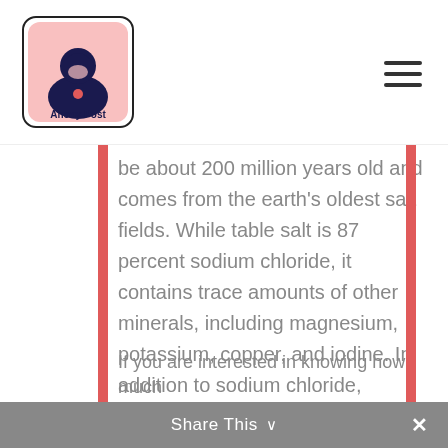Anony Post
be about 200 million years old and comes from the earth's oldest salt fields. While table salt is 87 percent sodium chloride, it contains trace amounts of other minerals, including magnesium, potassium, copper, and iodine. In addition to sodium chloride, Himalayan salt contains more minerals than regular table salt.
It is a good source of iodine
If you are interested in knowing how much
Share This